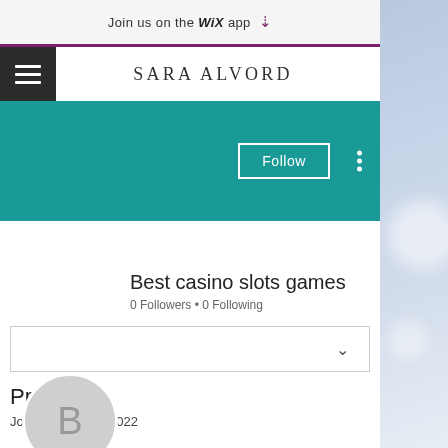Join us on the WiX app ↓
SARA ALVORD
[Figure (screenshot): Teal profile header banner with Follow button and vertical dots menu]
[Figure (illustration): Circular grey avatar with letter B]
Best casino slots games
0 Followers • 0 Following
Profile
Join date: Jun 3, 2022